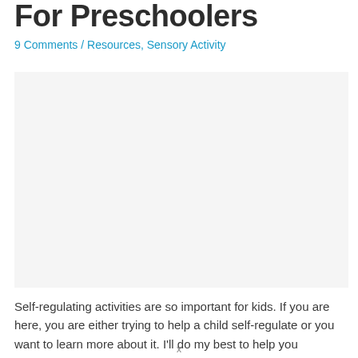For Preschoolers
9 Comments / Resources, Sensory Activity
[Figure (photo): Image placeholder area for a sensory/self-regulation activity photo for preschoolers]
Self-regulating activities are so important for kids. If you are here, you are either trying to help a child self-regulate or you want to learn more about it. I'll do my best to help you understand self-regulation and how
x